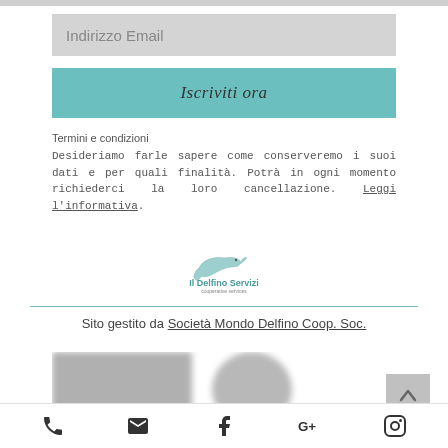Indirizzo Email
Iscriviti ora
Termini e condizioni
Desideriamo farle sapere come conserveremo i suoi dati e per quali finalità. Potrà in ogni momento richiederci la loro cancellazione. Leggi l'informativa.
[Figure (logo): Il Delfino Servizi logo with dolphin illustration]
Sito gestito da Società Mondo Delfino Coop. Soc.
[Figure (screenshot): Blurred content area with social/app icons]
Phone | Email | Facebook | Google+ | Instagram icons